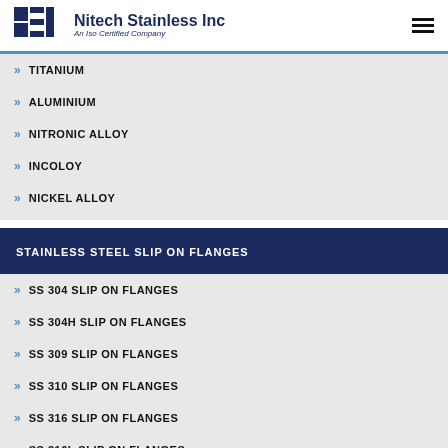NSI Nitech Stainless Inc An Iso Certified Company
TITANIUM
ALUMINIUM
NITRONIC ALLOY
INCOLOY
NICKEL ALLOY
STAINLESS STEEL SLIP ON FLANGES
SS 304 SLIP ON FLANGES
SS 304H SLIP ON FLANGES
SS 309 SLIP ON FLANGES
SS 310 SLIP ON FLANGES
SS 316 SLIP ON FLANGES
SS 316L SLIP ON FLANGES